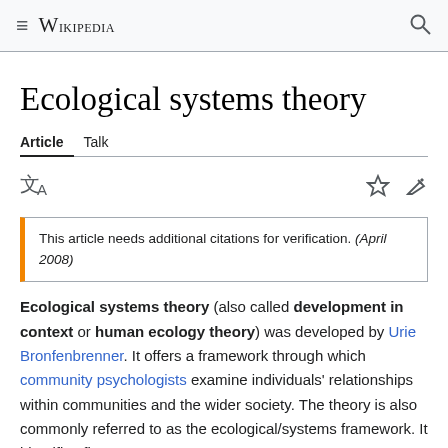≡ WIKIPEDIA 🔍
Ecological systems theory
Article   Talk
This article needs additional citations for verification. (April 2008)
Ecological systems theory (also called development in context or human ecology theory) was developed by Urie Bronfenbrenner. It offers a framework through which community psychologists examine individuals' relationships within communities and the wider society. The theory is also commonly referred to as the ecological/systems framework. It identifies five